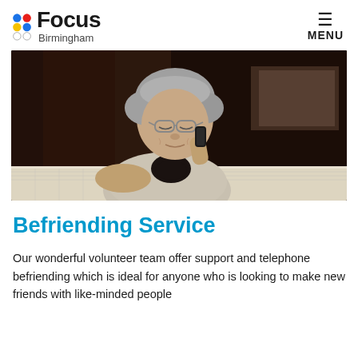Focus Birmingham — MENU
[Figure (photo): An elderly woman with short grey hair and glasses talking on a mobile phone, seated at a table with a lace tablecloth, in a dark interior setting.]
Befriending Service
Our wonderful volunteer team offer support and telephone befriending which is ideal for anyone who is looking to make new friends with like-minded people